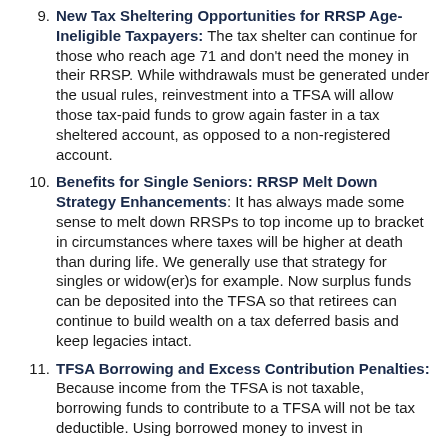9. New Tax Sheltering Opportunities for RRSP Age-Ineligible Taxpayers: The tax shelter can continue for those who reach age 71 and don't need the money in their RRSP. While withdrawals must be generated under the usual rules, reinvestment into a TFSA will allow those tax-paid funds to grow again faster in a tax sheltered account, as opposed to a non-registered account.
10. Benefits for Single Seniors: RRSP Melt Down Strategy Enhancements: It has always made some sense to melt down RRSPs to top income up to bracket in circumstances where taxes will be higher at death than during life. We generally use that strategy for singles or widow(er)s for example. Now surplus funds can be deposited into the TFSA so that retirees can continue to build wealth on a tax deferred basis and keep legacies intact.
11. TFSA Borrowing and Excess Contribution Penalties: Because income from the TFSA is not taxable, borrowing funds to contribute to a TFSA will not be tax deductible. Using borrowed money to invest in